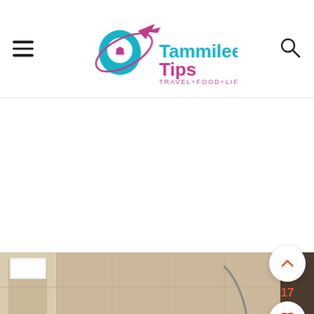Tammilee Tips - TRAVEL+FOOD+LIFE
[Figure (screenshot): Bathroom photo showing shower area with beige tiles and a hand-held showerhead]
[Figure (screenshot): Advertisement banner: Ashburn OPEN 7:30AM-6PM, 43781 Parkhurst Plaza, Ashburn, with Meineke-style auto logo and blue navigation arrow]